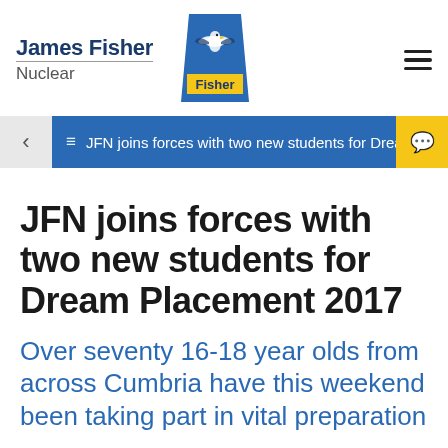James Fisher Nuclear
[Figure (logo): James Fisher 'Fisher' brand logo — blue trapezoid shape with seagull illustration and yellow 'Fisher' text]
≡  JFN joins forces with two new students for Dream ...
JFN joins forces with two new students for Dream Placement 2017
Over seventy 16-18 year olds from across Cumbria have this weekend been taking part in vital preparation